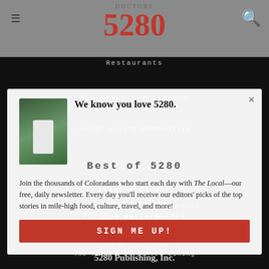Doctors 5280
Restaurants
Real Estate Producers
Senior Living Communities
We know you love 5280.
Best of 5280
Join the thousands of Coloradans who start each day with The Local—our free, daily newsletter. Every day you'll receive our editors' picks of the top stories in mile-high food, culture, travel, and more!
The Future of Denver Dining
Top of the Town
The Year That Changed Everything
Denver's Best Neighborhoods
5280 Favorites
SIGN ME UP!
Classic Denver
Hikes We Like
First-Timer's Guides
5280 Publishing, Inc.